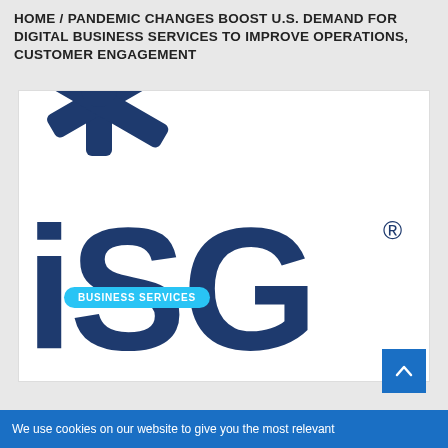HOME / PANDEMIC CHANGES BOOST U.S. DEMAND FOR DIGITAL BUSINESS SERVICES TO IMPROVE OPERATIONS, CUSTOMER ENGAGEMENT
[Figure (logo): ISG logo: a dark navy asterisk symbol above large bold 'ISG' text with registered trademark symbol, on white background]
BUSINESS SERVICES
We use cookies on our website to give you the most relevant